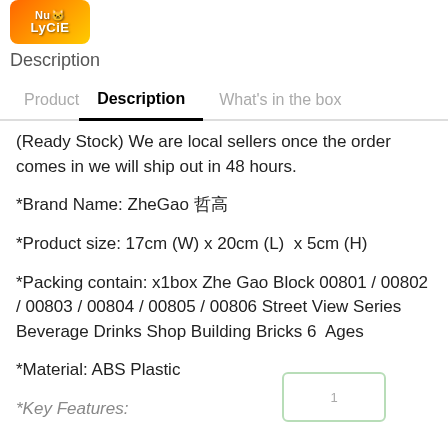[Figure (logo): NuLyCie brand logo with orange/yellow gradient background]
Description
Product | Description | What's in the box
(Ready Stock) We are local sellers once the order comes in we will ship out in 48 hours.
*Brand Name: ZheGao 哲高
*Product size: 17cm (W) x 20cm (L)  x 5cm (H)
*Packing contain: x1box Zhe Gao Block 00801 / 00802 / 00803 / 00804 / 00805 / 00806 Street View Series Beverage Drinks Shop Building Bricks 6  Ages
*Material: ABS Plastic
*Key Features: